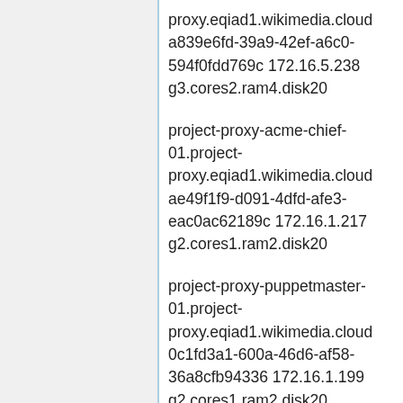proxy.eqiad1.wikimedia.cloud a839e6fd-39a9-42ef-a6c0-594f0fdd769c 172.16.5.238 g3.cores2.ram4.disk20
project-proxy-acme-chief-01.project-proxy.eqiad1.wikimedia.cloud ae49f1f9-d091-4dfd-afe3-eac0ac62189c 172.16.1.217 g2.cores1.ram2.disk20
project-proxy-puppetmaster-01.project-proxy.eqiad1.wikimedia.cloud 0c1fd3a1-600a-46d6-af58-36a8cfb94336 172.16.1.199 g2.cores1.ram2.disk20
maps-proxy-02.project-proxy.eqiad1.wikimedia.cloud 6ecf3986-e383-49f1-b991-c8a50c381078 172.16.1.125 g2.cores1.ram2.disk20
maps-proxy-01.project-proxy.eqiad1.wikimedia.cloud ff9373de-bde3-4f09-8424-9364a066fff5 172.16.1.26 g2.cores1.ram2.disk20